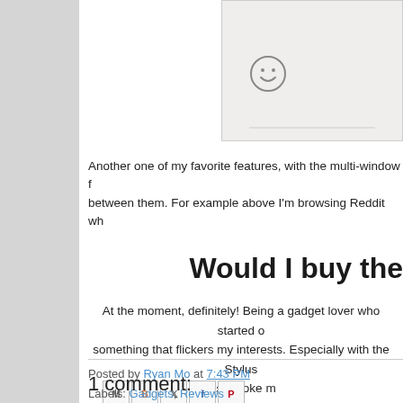[Figure (screenshot): Screenshot of a browser/app interface showing a smiley face emoji icon and a text input area]
Another one of my favorite features, with the multi-window f... between them. For example above I'm browsing Reddit wh...
Would I buy the
At the moment, definitely! Being a gadget lover who started o... something that flickers my interests. Especially with the Stylus... fast stroke m...
Posted by Ryan Mo at 7:43 PM
Labels: Gadgets, Reviews
1 comment: